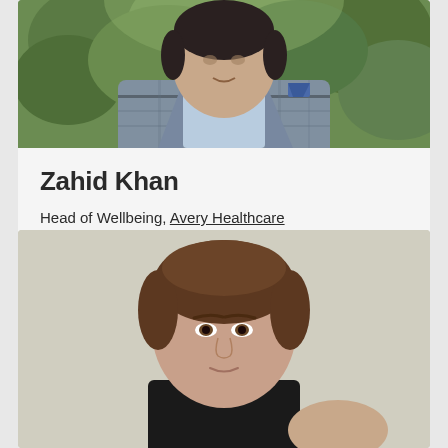[Figure (photo): Headshot of Zahid Khan, a man in a grey plaid blazer with a blue pocket square and light blue shirt, photographed outdoors with green foliage in the background.]
Zahid Khan
Head of Wellbeing, Avery Healthcare
[Figure (photo): Headshot of a woman with short brown hair pulled back, wearing a dark top, photographed against a neutral light background.]